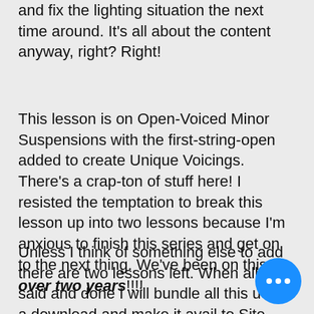and fix the lighting situation the next time around. It's all about the content anyway, right? Right!
This lesson is on Open-Voiced Minor Suspensions with the first-string-open added to create Unique Voicings. There's a crap-ton of stuff here! I resisted the temptation to break this lesson up into two lessons because I'm anxious to finish this series and get on to the next thing. We've been on this for over two years!!!!
Unless I think of something else to add there are two lessons left. When all is said and done I will bundle all this up into a download and make it available to Site Members as a single PDF.